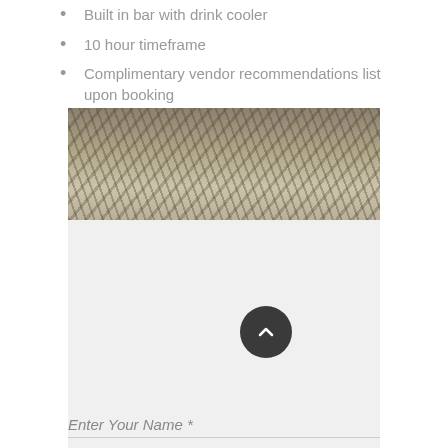Built in bar with drink cooler
10 hour timeframe
Complimentary vendor recommendations list upon booking
[Figure (photo): Sepia-toned photograph of tree branches spreading across the frame, taken from below looking up]
Enter Your Name *